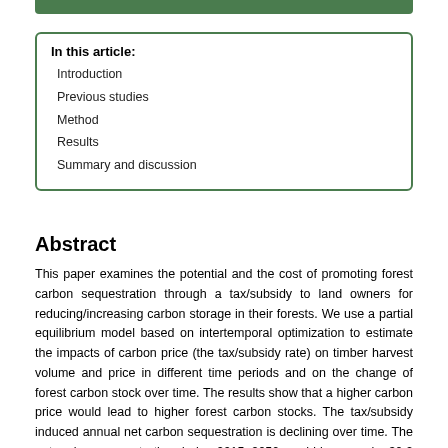In this article:
Introduction
Previous studies
Method
Results
Summary and discussion
Abstract
This paper examines the potential and the cost of promoting forest carbon sequestration through a tax/subsidy to land owners for reducing/increasing carbon storage in their forests. We use a partial equilibrium model based on intertemporal optimization to estimate the impacts of carbon price (the tax/subsidy rate) on timber harvest volume and price in different time periods and on the change of forest carbon stock over time. The results show that a higher carbon price would lead to higher forest carbon stocks. The tax/subsidy induced annual net carbon sequestration is declining over time. The net carbon sequestration during 2015–2050 would increase by 30.2 to 318.3 million tonnes